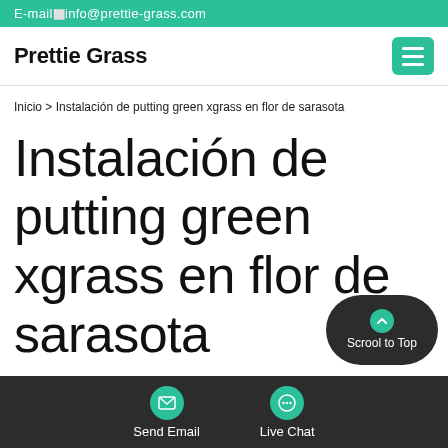E-mail info@prettie-grass.com
Prettie Grass
Inicio > Instalación de putting green xgrass en flor de sarasota
Instalación de putting green xgrass en flor de sarasota
Send Email  Live Chat